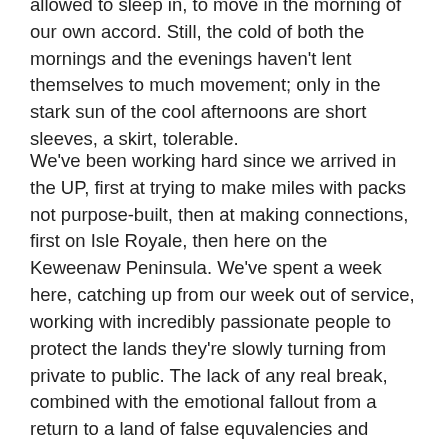allowed to sleep in, to move in the morning of our own accord. Still, the cold of both the mornings and the evenings haven't lent themselves to much movement; only in the stark sun of the cool afternoons are short sleeves, a skirt, tolerable.
We've been working hard since we arrived in the UP, first at trying to make miles with packs not purpose-built, then at making connections, first on Isle Royale, then here on the Keweenaw Peninsula. We've spent a week here, catching up from our week out of service, working with incredibly passionate people to protect the lands they're slowly turning from private to public. The lack of any real break, combined with the emotional fallout from a return to a land of false equivalencies and attempts at public lands-grabbing, has meant a starker schedule for me: wake, work, succumb to the inexorable draw of a nap, half-wake, work late, dinner late, insomnia. Repeat. It's only now, with a half-day to myself – Spesh knows I need recharge time, and has